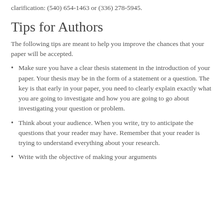clarification: (540) 654-1463 or (336) 278-5945.
Tips for Authors
The following tips are meant to help you improve the chances that your paper will be accepted.
Make sure you have a clear thesis statement in the introduction of your paper. Your thesis may be in the form of a statement or a question. The key is that early in your paper, you need to clearly explain exactly what you are going to investigate and how you are going to go about investigating your question or problem.
Think about your audience. When you write, try to anticipate the questions that your reader may have. Remember that your reader is trying to understand everything about your research.
Write with the objective of making your arguments